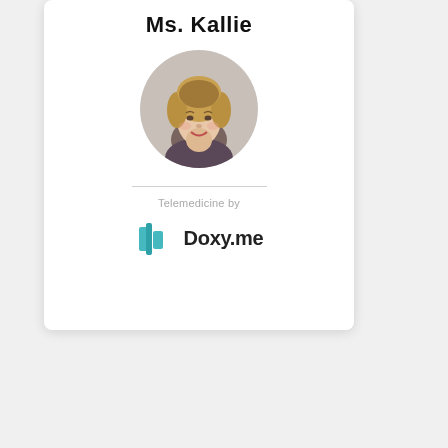Ms. Kallie
[Figure (photo): Circular profile photo of a middle-aged woman with short blonde hair, smiling, wearing a dark top]
Telemedicine by
[Figure (logo): Doxy.me logo: teal medical cross/signal icon followed by 'Doxy.me' in bold dark text]